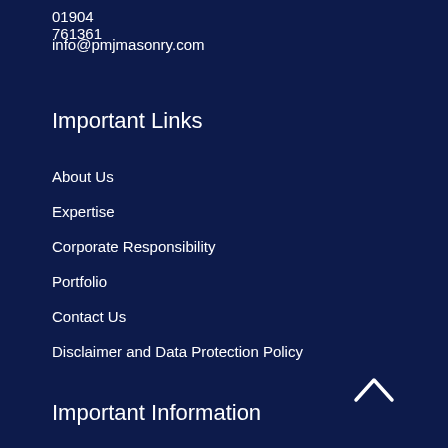01904 761361
info@pmjmasonry.com
Important Links
About Us
Expertise
Corporate Responsibility
Portfolio
Contact Us
Disclaimer and Data Protection Policy
Important Information